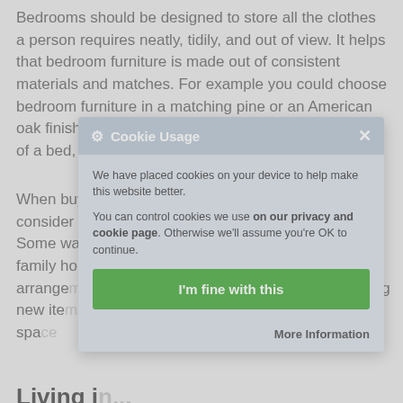Bedrooms should be designed to store all the clothes a person requires neatly, tidily, and out of view. It helps that bedroom furniture is made out of consistent materials and matches. For example you could choose bedroom furniture in a matching pine or an American oak finish. Bedroom furniture traditionally will consist of a bed, wardrobe, and a dressing table.
When buying bedroom furniture you will do well to consider the height of the room and size of floor area. Some wardrobes may be too tall for a modern small family home. Special attention could be made in the arrangement of ... buying new items ... r of free wall spa... want a wardrob...
Living i...
Living ro... m good design a... ng room furniture...
[Figure (screenshot): Cookie Usage modal dialog overlay. Header reads 'Cookie Usage' with gear icon and X close button. Body text: 'We have placed cookies on your device to help make this website better.' and 'You can control cookies we use on our privacy and cookie page. Otherwise we'll assume you're OK to continue.' Green button labeled 'I'm fine with this'. Link at bottom right: 'More Information'.]